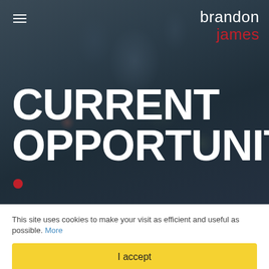[Figure (screenshot): Website screenshot showing a dark hero banner with blurred bokeh background, hamburger menu icon top-left, Brandon James logo top-right, and large bold white text reading CURRENT OPPORTUNITY]
CURRENT OPPORTUNITY
This site uses cookies to make your visit as efficient and useful as possible. More
I accept